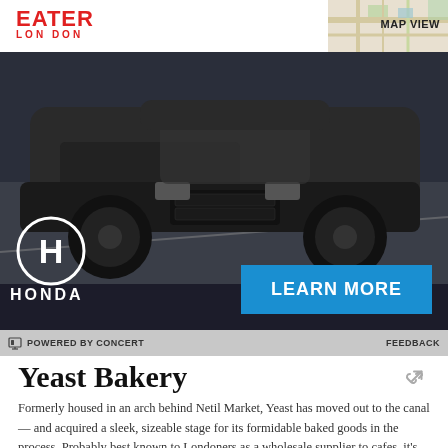EATER LONDON
[Figure (photo): Honda SUV advertisement showing a dark grey Honda SUV on a road, with Honda logo, 'LEARN MORE' button in blue, set against a dark background. Map view thumbnail in top right corner.]
POWERED BY CONCERT    FEEDBACK
Yeast Bakery
Formerly housed in an arch behind Netil Market, Yeast has moved out to the canal — and acquired a sleek, sizeable stage for its formidable baked goods in the process. Probably best known to Londoners as a wholesale supplier to cafes, it's now focussed on serving up croissants, glass-like Kouign-amann, and more to the public. Brilliantly made goods that locals should take advantage of.